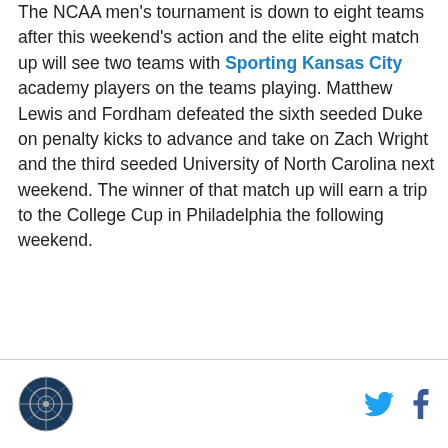The NCAA men's tournament is down to eight teams after this weekend's action and the elite eight match up will see two teams with Sporting Kansas City academy players on the teams playing. Matthew Lewis and Fordham defeated the sixth seeded Duke on penalty kicks to advance and take on Zach Wright and the third seeded University of North Carolina next weekend. The winner of that match up will earn a trip to the College Cup in Philadelphia the following weekend.
[logo] [twitter] [facebook]